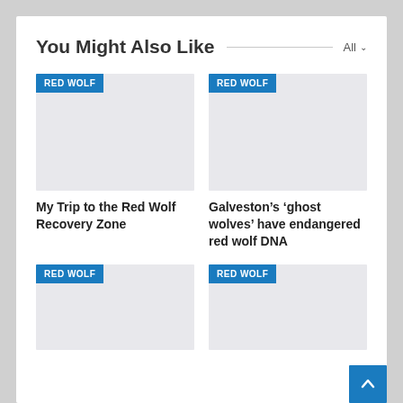You Might Also Like
[Figure (screenshot): Thumbnail image placeholder with RED WOLF tag for article: My Trip to the Red Wolf Recovery Zone]
My Trip to the Red Wolf Recovery Zone
[Figure (screenshot): Thumbnail image placeholder with RED WOLF tag for article: Galveston's 'ghost wolves' have endangered red wolf DNA]
Galveston's ‘ghost wolves’ have endangered red wolf DNA
[Figure (screenshot): Thumbnail image placeholder with RED WOLF tag (bottom left article)]
[Figure (screenshot): Thumbnail image placeholder with RED WOLF tag (bottom right article)]